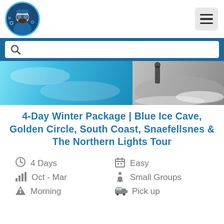[Figure (logo): Circular logo with a person wearing winter gear, blue border]
4-Day Winter Package | Blue Ice Cave, Golden Circle, South Coast, Snaefellsnes & The Northern Lights Tour
4 Days
Easy
Oct - Mar
Small Groups
Morning
Pick up